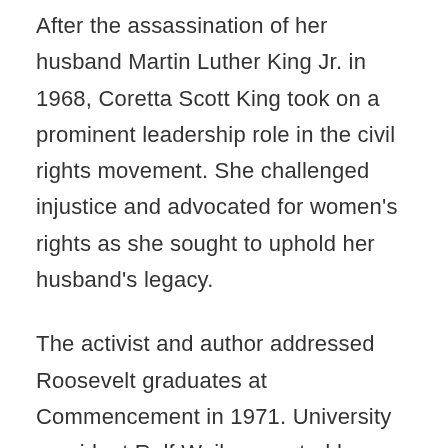After the assassination of her husband Martin Luther King Jr. in 1968, Coretta Scott King took on a prominent leadership role in the civil rights movement. She challenged injustice and advocated for women's rights as she sought to uphold her husband's legacy.
The activist and author addressed Roosevelt graduates at Commencement in 1971. University president Rolf Weil presented her with the Leadership for Freedom Award.